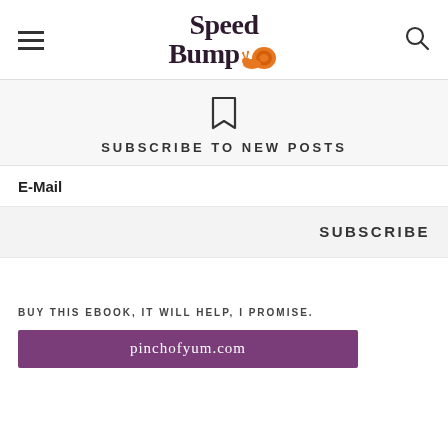[Figure (logo): Speed Bump logo with snail icon and hamburger menu and search icon in header]
SUBSCRIBE TO NEW POSTS
E-Mail
SUBSCRIBE
BUY THIS EBOOK, IT WILL HELP, I PROMISE.
[Figure (screenshot): Purple ebook banner showing pinchofyum.com]